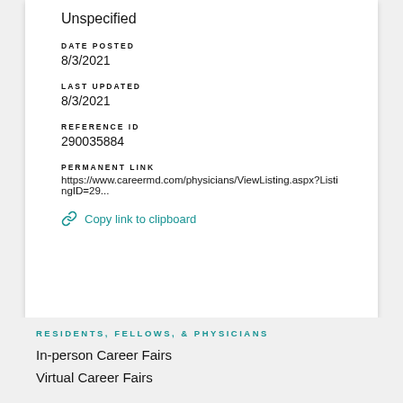Unspecified
DATE POSTED
8/3/2021
LAST UPDATED
8/3/2021
REFERENCE ID
290035884
PERMANENT LINK
https://www.careermd.com/physicians/ViewListing.aspx?ListingID=29...
Copy link to clipboard
RESIDENTS, FELLOWS, & PHYSICIANS
In-person Career Fairs
Virtual Career Fairs